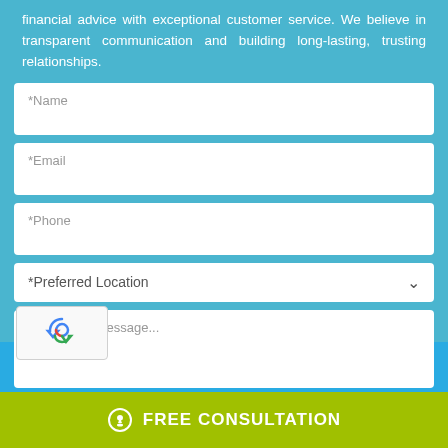financial advice with exceptional customer service. We believe in transparent communication and building long-lasting, trusting relationships.
[Figure (infographic): Contact form with fields for Name, Email, Phone, Preferred Location (dropdown), and a message textarea, plus a reCAPTCHA widget]
CALL US : (813) 336-1047
FREE CONSULTATION